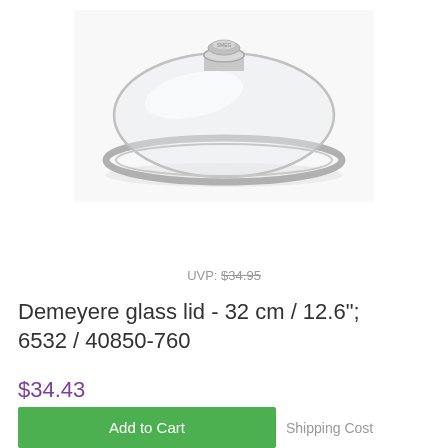[Figure (photo): A circular glass lid with a stainless steel rim and a round metal knob handle on top, photographed against a white background.]
UVP: $34.95
Demeyere glass lid - 32 cm / 12.6"; 6532 / 40850-760
$34.43
Add to Cart
Shipping Cost